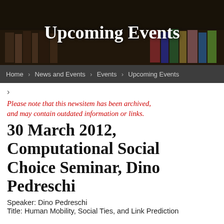Upcoming Events
Home > News and Events > Events > Upcoming Events
Please note that this newsitem has been archived, and may contain outdated information or links.
30 March 2012, Computational Social Choice Seminar, Dino Pedreschi
Speaker: Dino Pedreschi
Title: Human Mobility, Social Ties, and Link Prediction